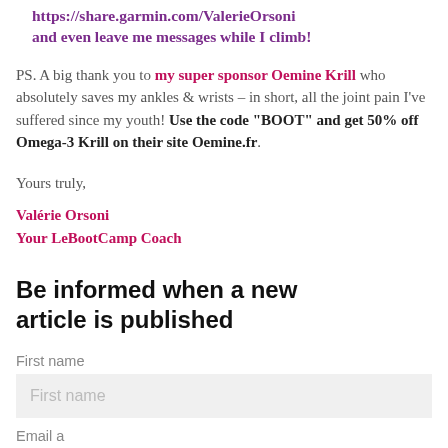https://share.garmin.com/ValerieOrsoni and even leave me messages while I climb!
PS. A big thank you to my super sponsor Oemine Krill who absolutely saves my ankles & wrists – in short, all the joint pain I've suffered since my youth! Use the code “BOOT” and get 50% off Omega-3 Krill on their site Oemine.fr.
Yours truly,
Valérie Orsoni
Your LeBootCamp Coach
Be informed when a new article is published
First name
First name
Email a